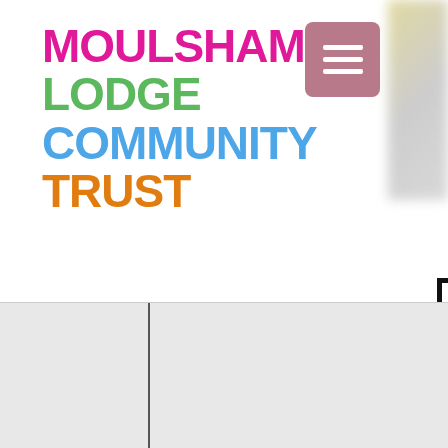MOULSHAM LODGE COMMUNITY TRUST
[Figure (logo): MLCT Community Station logo - wooden sign with colorful lettering]
[Figure (logo): MLCT square logo with m, L, C, T letters in pink, green, blue, orange on white with black border]
[Figure (illustration): Green shopping bag icon with white 0 inside]
Sign Up to our E-NEWSLETTER